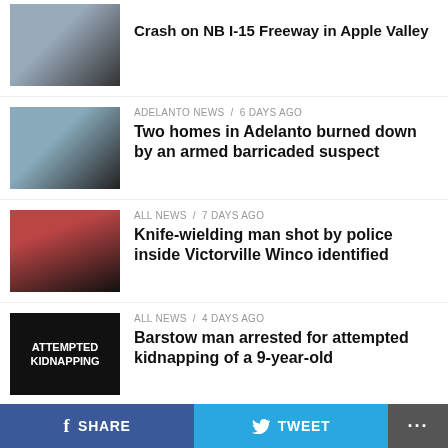[Figure (photo): Thumbnail image of crash scene on NB I-15 freeway in Apple Valley]
Crash on NB I-15 Freeway in Apple Valley
[Figure (photo): Thumbnail showing burned homes in Adelanto]
ADELANTO NEWS / 6 days ago
Two homes in Adelanto burned down by an armed barricaded suspect
[Figure (photo): Thumbnail of Victorville Winco store with police tape]
ALL NEWS / 7 days ago
Knife-wielding man shot by police inside Victorville Winco identified
[Figure (photo): Thumbnail showing text: ATTEMPTED KIDNAPPING]
ALL NEWS / 4 days ago
Barstow man arrested for attempted kidnapping of a 9-year-old
[Figure (logo): VVNG logo in blue and white on black background]
SHARE  TWEET  ...